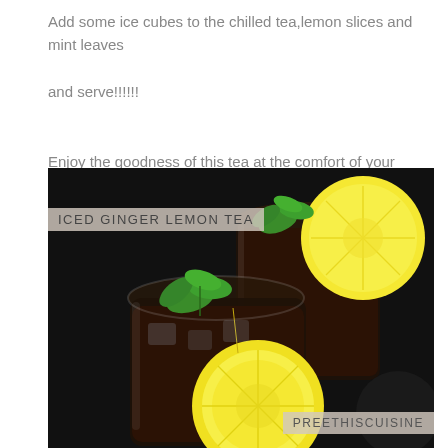Add some ice cubes to the chilled tea,lemon slices and mint leaves and serve!!!!!!
Enjoy the goodness of this tea at the comfort of your home!!!!!!!!!!!!!!!!!!
[Figure (photo): Two glasses of iced ginger lemon tea with lemon slices on the rim and mint leaves garnish, on a dark background. Overlay text 'ICED GINGER LEMON TEA' in upper left and 'PREETHISCUISINE' in lower right.]